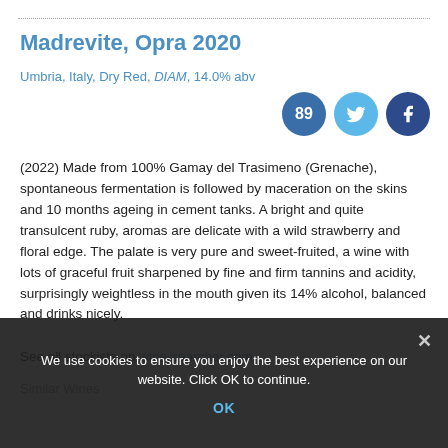Madrevite, Opra 2020
Umbria, Italy, Dry Red, DIAM, 14.0% abv
(2022) Made from 100% Gamay del Trasimeno (Grenache), spontaneous fermentation is followed by maceration on the skins and 10 months ageing in cement tanks. A bright and quite transulcent ruby, aromas are delicate with a wild strawberry and floral edge. The palate is very pure and sweet-fruited, a wine with lots of graceful fruit sharpened by fine and firm tannins and acidity, surprisingly weightless in the mouth given its 14% alcohol, balanced and drinks nicely.
See all stockists on wine-searcher.com.
Similar Wines
We use cookies to ensure you enjoy the best experience on our website. Click OK to continue.
OK